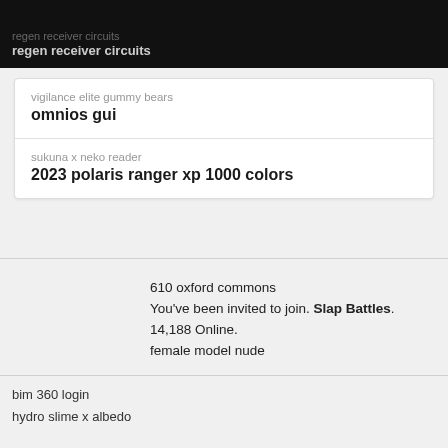regen receiver circuits
vigilance elite gummy bears
omnios gui
sukuna x neko reader
2023 polaris ranger xp 1000 colors
610 oxford commons
You've been invited to join. Slap Battles. 14,188 Online.
female model nude
bim 360 login
hydro slime x albedo